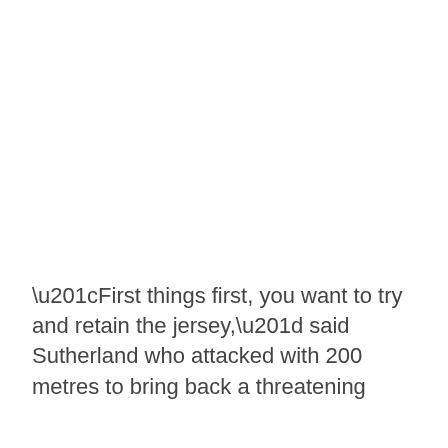“First things first, you want to try and retain the jersey,” said Sutherland who attacked with 200 metres to bring back a threatening